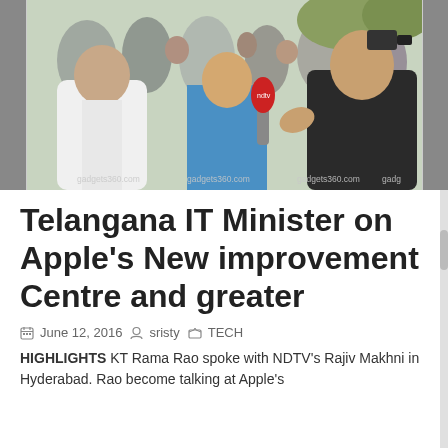[Figure (photo): Photo of Telangana IT Minister KT Rama Rao being interviewed by NDTV's Rajiv Makhni in Hyderabad, with a crowd of people in the background. Watermarks read gadgets360.com across the bottom.]
Telangana IT Minister on Apple's New improvement Centre and greater
June 12, 2016   sristy   TECH
HIGHLIGHTS KT Rama Rao spoke with NDTV's Rajiv Makhni in Hyderabad. Rao become talking at Apple's inauguration of its Hyderabad development centre...